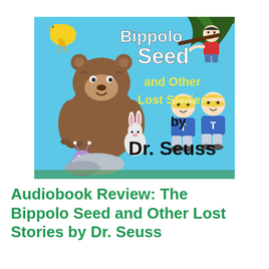[Figure (illustration): Book cover of 'The Bippolo Seed and Other Lost Stories by Dr. Seuss' — light blue background with cartoon characters including a large brown bear, a small rabbit, a yellow bird, a boy in red, twin boys in blue T-shirts, and a small creature with antennae. Title text reads 'Bippolo Seed and Other Lost Stories by Dr. Seuss' in bold white, yellow, and black lettering.]
Audiobook Review: The Bippolo Seed and Other Lost Stories by Dr. Seuss